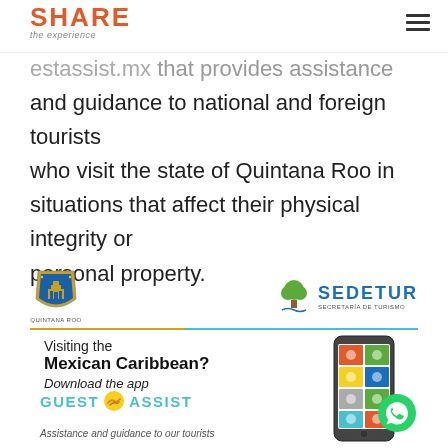SHARE the experience
estassist.mx that provides assistance and guidance to national and foreign tourists who visit the state of Quintana Roo in situations that affect their physical integrity or personal property.
[Figure (logo): Quintana Roo state shield logo and SEDETUR (Secretaría de Turismo) logo]
[Figure (infographic): Guest Assist app advertisement banner: Visiting the Mexican Caribbean? Download the app. Guest Assist. Assistance and guidance to our tourists. Shows phone mockup and WhatsApp icon.]